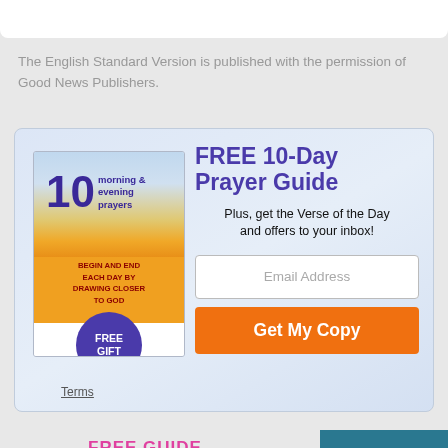[Figure (other): Top partial white card with rounded bottom corners, partially visible at top of page]
The English Standard Version is published with the permission of Good News Publishers.
[Figure (infographic): Promotional box with light blue gradient background. On left: book cover '10 morning & evening prayers — BEGIN AND END EACH DAY BY DRAWING CLOSER TO GOD' with FREE GIFT circle badge. On right: FREE 10-Day Prayer Guide headline, Plus get the Verse of the Day and offers to your inbox!, email input field, Get My Copy orange button. Terms link at bottom left.]
FREE 10-Day Prayer Guide
Plus, get the Verse of the Day and offers to your inbox!
Email Address
Get My Copy
Terms
FREE GUIDE
Find Jesus